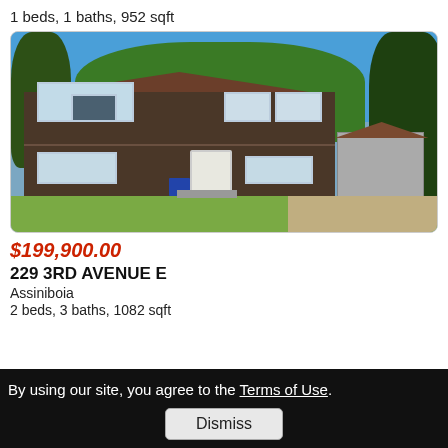1 beds, 1 baths, 952 sqft
[Figure (photo): Exterior photo of a two-story brown house with dark brown siding, white trim windows, white front door, attached garage on the right, surrounded by green trees, blue sky, and green lawn.]
$199,900.00
229 3RD AVENUE E
Assiniboia
2 beds, 3 baths, 1082 sqft
By using our site, you agree to the Terms of Use.
Dismiss